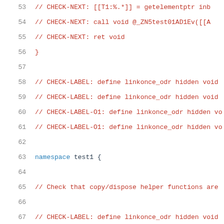53    // CHECK-NEXT: [[T1:%.*]] = getelementptr inb
54    // CHECK-NEXT: call void @_ZN5test01AD1Ev([[A
55    // CHECK-NEXT: ret void
56    }
57
58    // CHECK-LABEL: define linkonce_odr hidden void
59    // CHECK-LABEL: define linkonce_odr hidden void
60    // CHECK-LABEL-O1: define linkonce_odr hidden vo
61    // CHECK-LABEL-O1: define linkonce_odr hidden vo
62
63    namespace test1 {
64
65    // Check that copy/dispose helper functions are
66
67    // CHECK-LABEL: define linkonce_odr hidden void
68    // CHECK: %[[BLOCK_SOURCE:.*]] = bitcast i8* %{
69    // CHECK: %[[BLOCK_DEST:.*]] = bitcast i8* %{{.
70
71    // CHECK: %[[V9:.*]] = getelementptr inbounds <
72    // CHECK: %[[V10:.*]] = getelementptr inbounds
73    // CHECK: %[[BLOCKCOPY_SRC2:.*]] = load i8*, i8
74    // CHECK: ...